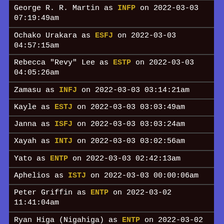George R. R. Martin as INFP on 2022-03-03 07:19:49am
Ochako Urakara as ESFJ on 2022-03-03 04:57:15am
Rebecca "Revy" Lee as ESTP on 2022-03-03 04:05:26am
Zamasu as INFJ on 2022-03-03 03:14:21am
Kayle as ESTJ on 2022-03-03 03:03:49am
Janna as ISFJ on 2022-03-03 03:03:24am
Xayah as INTJ on 2022-03-03 03:02:56am
Yato as ENTP on 2022-03-03 02:42:13am
Aphelios as ISTJ on 2022-03-03 00:00:06am
Peter Griffin as ENTP on 2022-03-02 11:41:04am
Ryan Higa (Nigahiga) as ENTP on 2022-03-02 01:44:47am
Will Smith (Willard Carroll Smith Jr.) as ENFP on ...